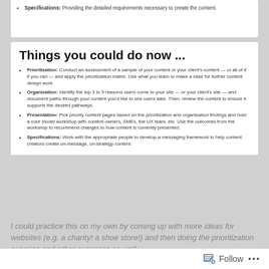Specifications: Providing the detailed requirements necessary to create the content.
Things you could do now ...
Prioritization: Conduct an assessment of a sample of your content or your client's content — or all of it if you can — and apply the prioritization matrix. Use what you learn to make a case for further content design work.
Organization: Identify the top 3 to 5 reasons users come to your site — or your client's site — and document paths through your content you'd like to see users take. Then, review the content to ensure it supports the desired pathways.
Presentation: Pick priority content pages based on the prioritization and organization findings and hold a core model workshop with content owners, SMEs, the UX team, etc. Use the outcomes from the workshop to recommend changes to how content is currently presented.
Specifications: Work with the appropriate people to develop a messaging framework to help content creators create on-message, on-strategy content.
I could practice this on my own by coming up with more ideas for websites (e.g. a charity! a shoe store!) and then doing the prioritization exercise and other exercises as well.